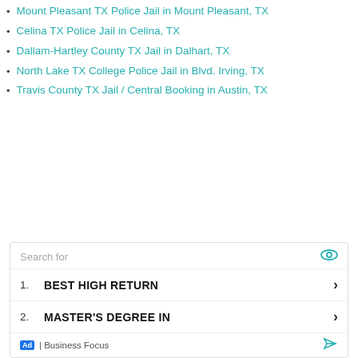Mount Pleasant TX Police Jail in Mount Pleasant, TX
Celina TX Police Jail in Celina, TX
Dallam-Hartley County TX Jail in Dalhart, TX
North Lake TX College Police Jail in Blvd. Irving, TX
Travis County TX Jail / Central Booking in Austin, TX
Search for
1. BEST HIGH RETURN
2. MASTER'S DEGREE IN
Ad | Business Focus